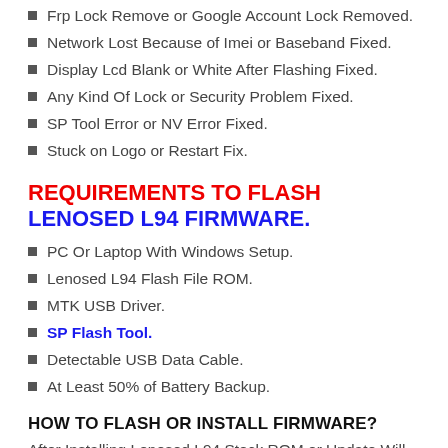Frp Lock Remove or Google Account Lock Removed.
Network Lost Because of Imei or Baseband Fixed.
Display Lcd Blank or White After Flashing Fixed.
Any Kind Of Lock or Security Problem Fixed.
SP Tool Error or NV Error Fixed.
Stuck on Logo or Restart Fix.
REQUIREMENTS TO FLASH LENOSED L94 FIRMWARE.
PC Or Laptop With Windows Setup.
Lenosed L94 Flash File ROM.
MTK USB Driver.
SP Flash Tool.
Detectable USB Data Cable.
At Least 50% of Battery Backup.
HOW TO FLASH OR INSTALL FIRMWARE?
After Installing Lenosed L94 Stock ROM or Update Will Erase